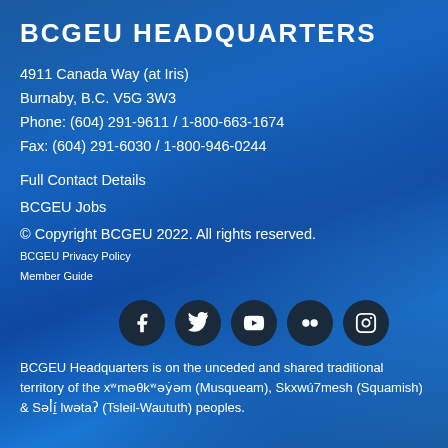BCGEU HEADQUARTERS
4911 Canada Way (at Iris)
Burnaby, B.C. V5G 3W3
Phone: (604) 291-9611 / 1-800-663-1674
Fax: (604) 291-6030 / 1-800-946-0244
Full Contact Details
BCGEU Jobs
© Copyright BCGEU 2022. All rights reserved.
BCGEU Privacy Policy
Member Guide
[Figure (infographic): Five social media icon circles in a row: Facebook, Twitter, YouTube, Flickr, Instagram]
BCGEU Headquarters is on the unceded and shared traditional territory of the xʷməθkʷəy̓əm (Musqueam), Skxwú7mesh (Squamish) & Səl̓ílwətaʔ (Tsleil-Waututh) peoples.